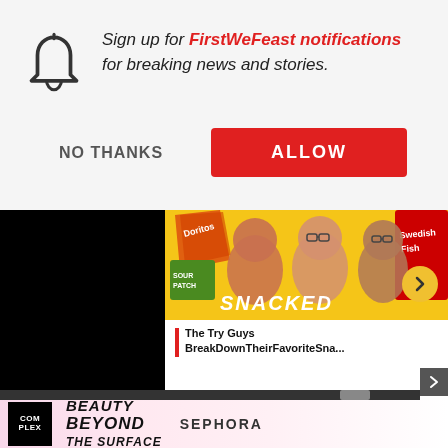Sign up for FirstWeFeast notifications for breaking news and stories.
NO THANKS
ALLOW
[Figure (screenshot): Video thumbnail showing three men with surprised expressions surrounded by snack food packaging (Doritos, Sour Patch Kids, Swedish Fish) with the word SNACKED overlaid]
The Try Guys BreakDownTheirFavoriteSna...
[Figure (logo): Advertisement banner: Complex logo (black square with white text), Beauty Beyond The Surface in italic bold, SEPHORA text]